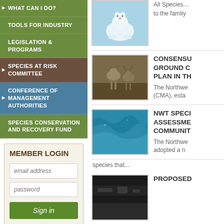WHAT CAN I DO?
TOOLS FOR INDUSTRY
LEGISLATION & PROGRAMS
SPECIES AT RISK COMMITTEE
CONFERENCE OF MANAGEMENT AUTHORITIES
SPECIES CONSERVATION AND RECOVERY FUND
MEMBER LOGIN
email address
password
Sign in
[Figure (photo): Polar bear on snow/ice]
All Species... to the family
[Figure (photo): Caribou/reindeer grazing on rocky ground]
CONSENSUS GROUND C PLAN IN TH
The Northwe (CMA), esta
[Figure (photo): Blue water/ocean surface]
NWT SPECI ASSESSME COMMUNIT
The Northwe adopted a n
species that...
[Figure (photo): Dark landscape image (partial)]
PROPOSED